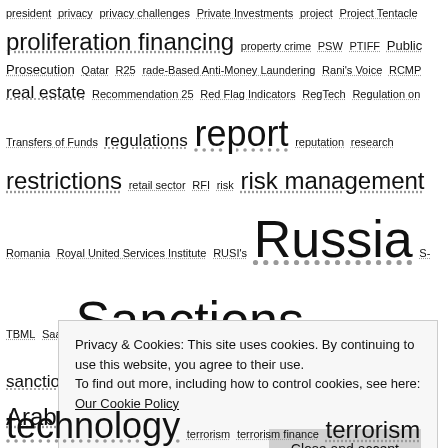president privacy privacy challenges Private Investments project Project Tentacle proliferation financing property crime PSW PTIFF Public Prosecution Qatar R25 rade-Based Anti-Money Laundering Rani's Voice RCMP real estate Recommendation 25 Red Flag Indicators RegTech Regulation on Transfers of Funds regulations report reputation research restrictions retail sector RFI risk risk management Romania Royal United Services Institute RUSI's Russia S-TBML SaaS Sanctions sanctions compliance sanctions screening SAR SARB SARS SAS solution Saudi Arabia Saudi Central Bank SDGs SDNs Senate Resolution Serbia sexual exploitation SFMSU Shell companies SIBL Singapore SIU Social software South Africa South Sudan Spain Sri Lanka stakeholder stakeholders standards Startup State
Privacy & Cookies: This site uses cookies. By continuing to use this website, you agree to their use. To find out more, including how to control cookies, see here: Our Cookie Policy
Close and accept
technology terrorism terrorism finance terrorism financing terrorist terrorist financing terrorist financing risk factors